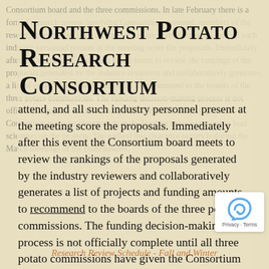Northwest Potato Research Consortium
attend, and all such industry personnel present at the meeting score the proposals. Immediately after this event the Consortium board meets to review the rankings of the proposals generated by the industry reviewers and collaboratively generates a list of projects and funding amounts to recommend to the boards of the three potato commissions. The funding decision-making process is not officially complete until all three potato commissions have given the Consortium manager clearance to make funding announcements to lead scientists on the projects. The earliest this clearance occurs is during the March meetings of the commissions.
Research Review Schedule - Fall and Winter